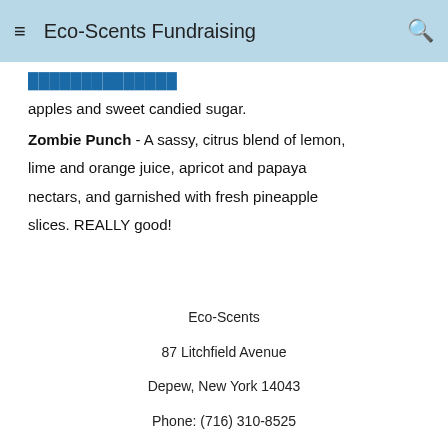Eco-Scents Fundraising
apples and sweet candied sugar.
Zombie Punch - A sassy, citrus blend of lemon, lime and orange juice, apricot and papaya nectars, and garnished with fresh pineapple slices. REALLY good!
Eco-Scents
87 Litchfield Avenue
Depew, New York 14043
Phone: (716) 310-8525